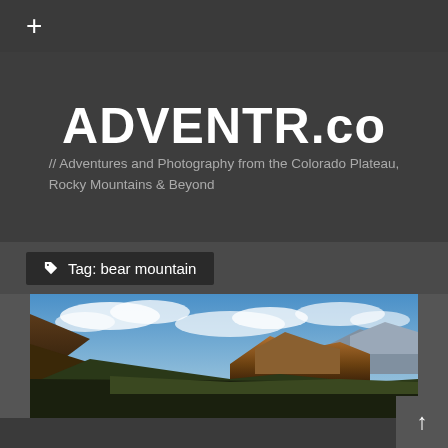+
ADVENTR.co
// Adventures and Photography from the Colorado Plateau, Rocky Mountains & Beyond
Tag: bear mountain
[Figure (photo): Panoramic mountain landscape photo showing rocky peaks under a partly cloudy blue sky, with forested slopes in the foreground — Colorado Rockies scenery]